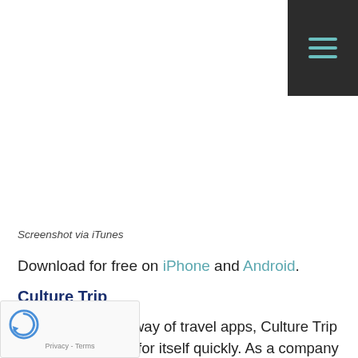[Figure (other): Dark hamburger/menu button with three teal horizontal lines on dark background, positioned top-right corner]
Screenshot via iTunes
Download for free on iPhone and Android.
Culture Trip
Slightly newer by way of travel apps, Culture Trip is making a name for itself quickly. As a company that understands the value of market research, and values diversity, we understand why! Featured as the App of the Day by Apple both the United
[Figure (other): reCAPTCHA widget overlay at bottom left showing a circular arrow logo and Privacy - Terms text]